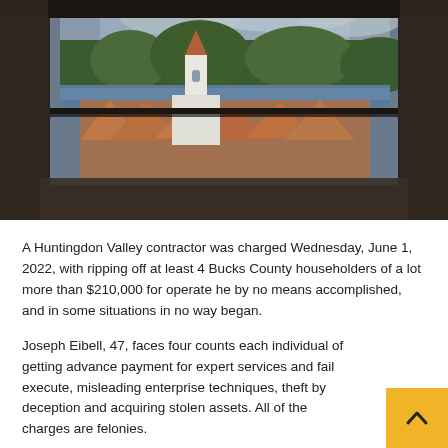[Figure (photo): View through a stone castle window opening, showing a European town with orange-red tiled rooftops, a white church with a steeple, green trees, and a lake or river in the background under a cloudy sky.]
A Huntingdon Valley contractor was charged Wednesday, June 1, 2022, with ripping off at least 4 Bucks County householders of a lot more than $210,000 for operate he by no means accomplished, and in some situations in no way began.
Joseph Eibell, 47, faces four counts each individual of getting advance payment for expert services and fail execute, misleading enterprise techniques, theft by deception and acquiring stolen assets. All of the charges are felonies.